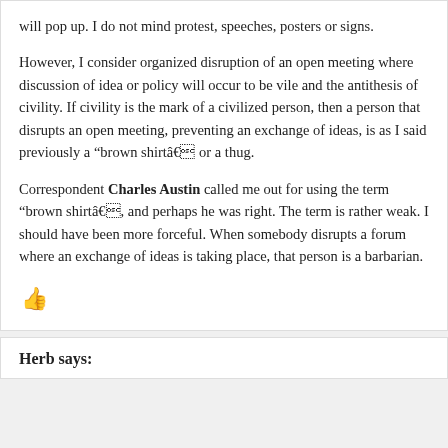will pop up. I do not mind protest, speeches, posters or signs.
However, I consider organized disruption of an open meeting where discussion of idea or policy will occur to be vile and the antithesis of civility. If civility is the mark of a civilized person, then a person that disrupts an open meeting, preventing an exchange of ideas, is as I said previously a “brown shirtâ or a thug.
Correspondent Charles Austin called me out for using the term “brown shirtâ, and perhaps he was right. The term is rather weak. I should have been more forceful. When somebody disrupts a forum where an exchange of ideas is taking place, that person is a barbarian.
[Figure (other): Red thumbs up icon]
Herb says: